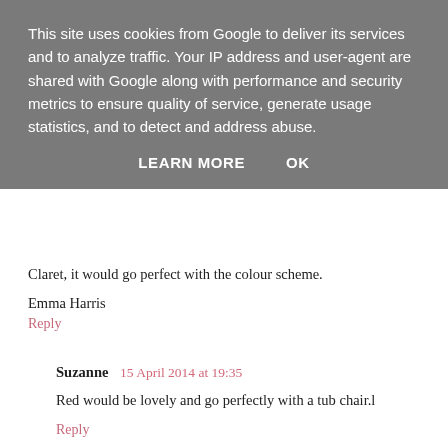This site uses cookies from Google to deliver its services and to analyze traffic. Your IP address and user-agent are shared with Google along with performance and security metrics to ensure quality of service, generate usage statistics, and to detect and address abuse.
LEARN MORE   OK
Claret, it would go perfect with the colour scheme.
Emma Harris
Reply
Suzanne  15 April 2014 at 19:35
Red would be lovely and go perfectly with a tub chair.l
Reply
Unknown  15 April 2014 at 19:44
I would choose the red one for my new house! :)